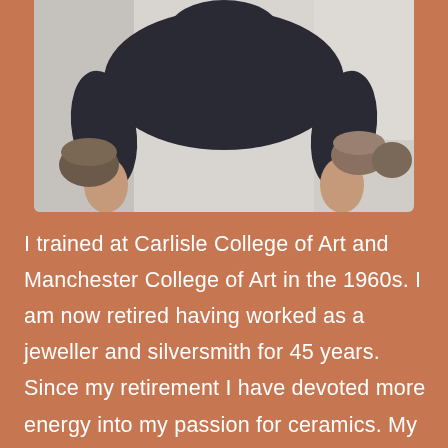[Figure (photo): A person wearing a dark navy/black t-shirt photographed from the torso up, with ceramic bowls visible in the background. The photo is cropped showing the chest, arms and no face visible.]
I trained at Carlisle College of Art and Manchester College of Art in the 1960s. I am now retired having worked as a jeweller and silversmith for 45 years. Since my retirement I have devoted more energy into my passion for ceramics. My compact studio is situated in my garage in the Lancashire village of Crawshawbooth.